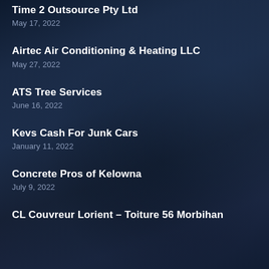Time 2 Outsource Pty Ltd
May 17, 2022
Airtec Air Conditioning & Heating LLC
May 27, 2022
ATS Tree Services
June 16, 2022
Kevs Cash For Junk Cars
January 11, 2022
Concrete Pros of Kelowna
July 9, 2022
CL Couvreur Lorient – Toiture 56 Morbihan